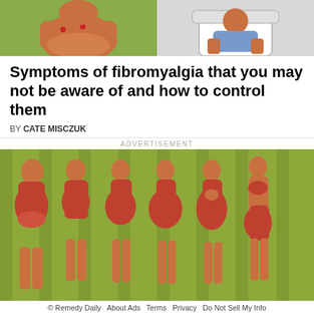[Figure (illustration): Top banner showing two cropped medical/health illustrations side by side: left shows a person's torso with red dots indicating fibromyalgia pain points on a green background, right shows a person seated on a toilet on a grey background.]
Symptoms of fibromyalgia that you may not be aware of and how to control them
BY CATE MISCZUK
ADVERTISEMENT
[Figure (illustration): Advertisement image showing six female figures in profile (side view) on an olive-green striped background, each displaying different body shapes and fat distribution patterns, wearing red clothing. The figures vary from obese to thinner body types showing different fat deposit locations.]
What the location of your body fat reveals
© Remedy Daily   About Ads   Terms   Privacy   Do Not Sell My Info